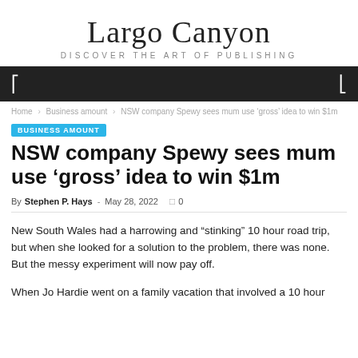Largo Canyon
DISCOVER THE ART OF PUBLISHING
Home > Business amount > NSW company Spewy sees mum use ‘gross’ idea to win $1m
BUSINESS AMOUNT
NSW company Spewy sees mum use ‘gross’ idea to win $1m
By Stephen P. Hays - May 28, 2022   0
New South Wales had a harrowing and “stinking” 10 hour road trip, but when she looked for a solution to the problem, there was none. But the messy experiment will now pay off.
When Jo Hardie went on a family vacation that involved a 10 hour